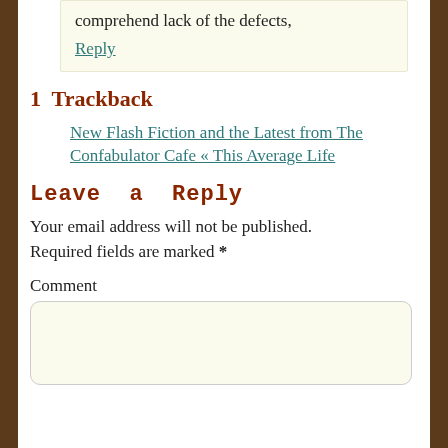comprehend lack of the defects,
Reply
1  Trackback
New Flash Fiction and the Latest from The Confabulator Cafe « This Average Life
Leave a Reply
Your email address will not be published. Required fields are marked *
Comment